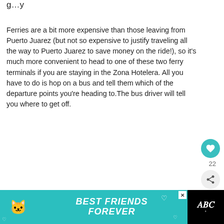Ferries are a bit more expensive than those leaving from Puerto Juarez (but not so expensive to justify traveling all the way to Puerto Juarez to save money on the ride!), so it's much more convenient to head to one of these two ferry terminals if you are staying in the Zona Hotelera. All you have to do is hop on a bus and tell them which of the departure points you're heading to.The bus driver will tell you where to get off.
Prices are as follows:
[Figure (other): Advertisement banner: teal background with a cat illustration, text 'BEST FRIENDS FOREVER' in white bold italic, a close/X button, and a Tidal music logo on the right black section.]